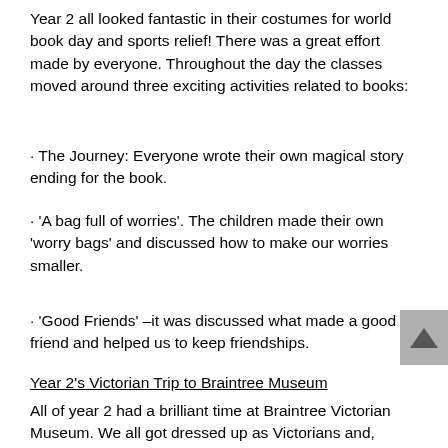Year 2 all looked fantastic in their costumes for world book day and sports relief! There was a great effort made by everyone. Throughout the day the classes moved around three exciting activities related to books:
· The Journey: Everyone wrote their own magical story ending for the book.
· 'A bag full of worries'. The children made their own 'worry bags' and discussed how to make our worries smaller.
· 'Good Friends' –it was discussed what made a good friend and helped us to keep friendships.
Year 2's Victorian Trip to Braintree Museum
All of year 2 had a brilliant time at Braintree Victorian Museum. We all got dressed up as Victorians and, looked amazing in our costumes, we headed off to town to find the museum. When we arrived, we were told that we'd have 3 special activities to enjoy. Our